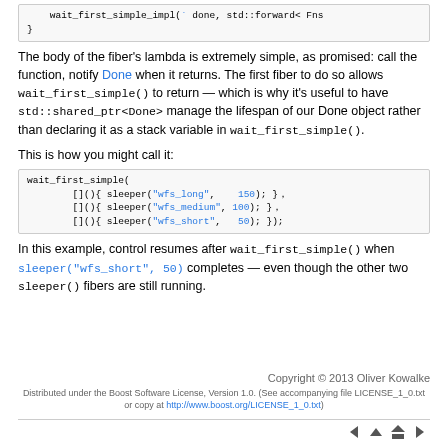[Figure (screenshot): Code block showing: wait_first_simple_impl( done, std::forward< Fns
}]
The body of the fiber's lambda is extremely simple, as promised: call the function, notify Done when it returns. The first fiber to do so allows wait_first_simple() to return — which is why it's useful to have std::shared_ptr<Done> manage the lifespan of our Done object rather than declaring it as a stack variable in wait_first_simple().
This is how you might call it:
[Figure (screenshot): Code block showing: wait_first_simple(
    []()  sleeper("wfs_long",  150); },
    []()  sleeper("wfs_medium", 100); },
    []()  sleeper("wfs_short",   50); });]
In this example, control resumes after wait_first_simple() when sleeper("wfs_short", 50) completes — even though the other two sleeper() fibers are still running.
Copyright © 2013 Oliver Kowalke
Distributed under the Boost Software License, Version 1.0. (See accompanying file LICENSE_1_0.txt or copy at http://www.boost.org/LICENSE_1_0.txt)